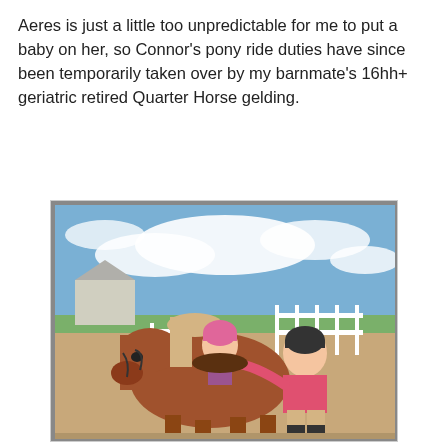Aeres is just a little too unpredictable for me to put a baby on her, so Connor's pony ride duties have since been temporarily taken over by my barnmate's 16hh+ geriatric retired Quarter Horse gelding.
[Figure (photo): A child wearing a pink helmet sits on a chestnut horse with a light mane, while an adult in a black riding helmet and pink shirt assists them. The scene is outdoors at a farm with a barn, white fence, and blue sky with clouds in the background.]